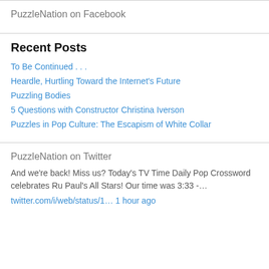PuzzleNation on Facebook
Recent Posts
To Be Continued . . .
Heardle, Hurtling Toward the Internet's Future
Puzzling Bodies
5 Questions with Constructor Christina Iverson
Puzzles in Pop Culture: The Escapism of White Collar
PuzzleNation on Twitter
And we're back! Miss us? Today's TV Time Daily Pop Crossword celebrates Ru Paul's All Stars! Our time was 3:33 -…
twitter.com/i/web/status/1… 1 hour ago